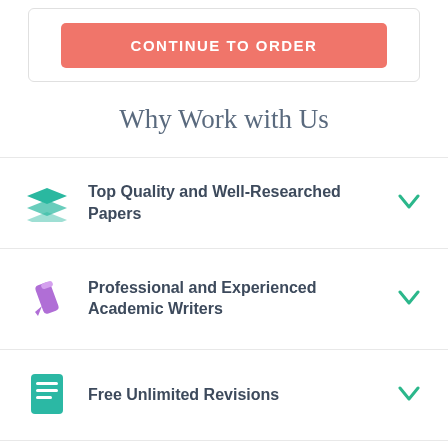[Figure (screenshot): Continue to Order button in salmon/coral color]
Why Work with Us
Top Quality and Well-Researched Papers
Professional and Experienced Academic Writers
Free Unlimited Revisions
Prompt Delivery and 100% Money-Back...